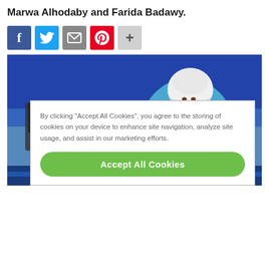Marwa Alhodaby and Farida Badawy.
[Figure (other): Social share icons row: Facebook (blue), Twitter (blue), Email/envelope (gray), Pinterest (red), Plus (light gray)]
[Figure (photo): A female table tennis player wearing a white hijab and blue jersey, leaning forward to hit a ping pong ball on a blue table. Indoor sports hall background with blue walls.]
By clicking "Accept All Cookies", you agree to the storing of cookies on your device to enhance site navigation, analyze site usage, and assist in our marketing efforts.
Accept All Cookies